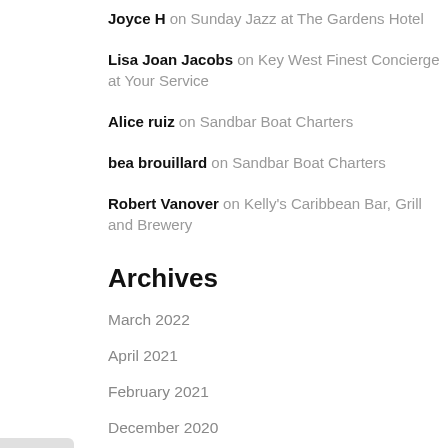Joyce H on Sunday Jazz at The Gardens Hotel
Lisa Joan Jacobs on Key West Finest Concierge at Your Service
Alice ruiz on Sandbar Boat Charters
bea brouillard on Sandbar Boat Charters
Robert Vanover on Kelly's Caribbean Bar, Grill and Brewery
Archives
March 2022
April 2021
February 2021
December 2020
November 2020
September 2020
July 2020